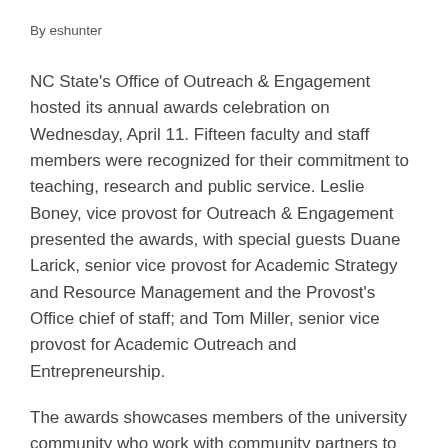By eshunter
NC State's Office of Outreach & Engagement hosted its annual awards celebration on Wednesday, April 11. Fifteen faculty and staff members were recognized for their commitment to teaching, research and public service. Leslie Boney, vice provost for Outreach & Engagement presented the awards, with special guests Duane Larick, senior vice provost for Academic Strategy and Resource Management and the Provost's Office chief of staff; and Tom Miller, senior vice provost for Academic Outreach and Entrepreneurship.
The awards showcases members of the university community who work with community partners to fulfill NC State's land-grant mission and to make